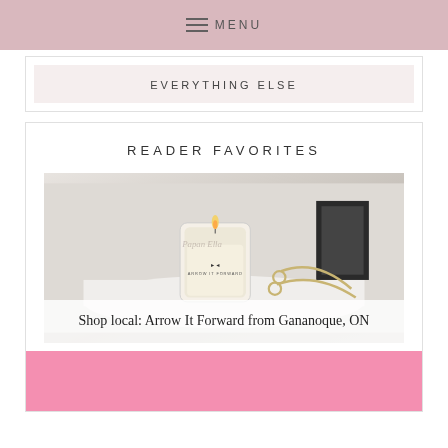MENU
EVERYTHING ELSE
READER FAVORITES
[Figure (photo): Photo of a white candle in a glass jar labeled 'Arrow It Forward' on a white plate, with scissors and a dark picture frame in the background. Overlay text reads: Shop local: Arrow It Forward from Gananoque, ON]
[Figure (photo): Pink colored image/section at the bottom of the page]